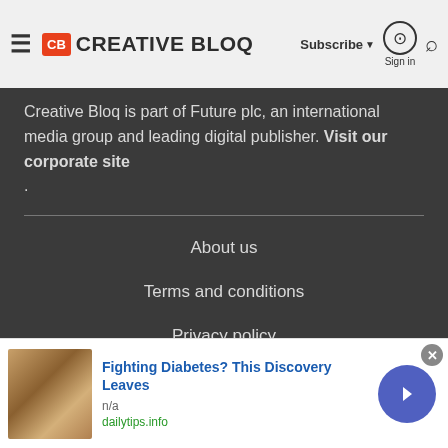CB CREATIVE BLOQ | Subscribe ▾ Sign in 🔍
Creative Bloq is part of Future plc, an international media group and leading digital publisher. Visit our corporate site .
About us
Terms and conditions
Privacy policy
Cookies policy
Advertise with us
[Figure (infographic): Advertisement banner: image of cashew nuts on the left, bold blue text 'Fighting Diabetes? This Discovery Leaves', gray text 'n/a', green text 'dailytips.info', blue circular arrow button on right, close X button top right]